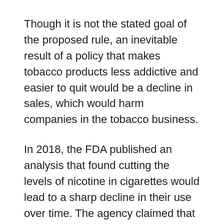Though it is not the stated goal of the proposed rule, an inevitable result of a policy that makes tobacco products less addictive and easier to quit would be a decline in sales, which would harm companies in the tobacco business.
In 2018, the FDA published an analysis that found cutting the levels of nicotine in cigarettes would lead to a sharp decline in their use over time. The agency claimed that by 2100, such a policy would prevent 33 million people from becoming regular smokers and would drive the percentage of Americans who